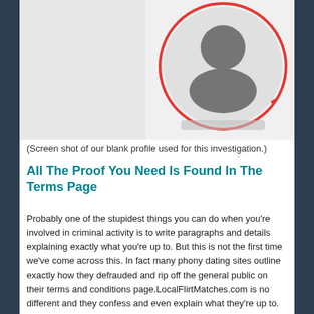[Figure (screenshot): Screenshot of a blank dating profile with a generic grey user avatar icon inside a red circle outline. The profile photo area is a light grey background on the left, and the avatar circle is on the right with a blurred name/text below.]
(Screen shot of our blank profile used for this investigation.)
All The Proof You Need Is Found In The Terms Page
Probably one of the stupidest things you can do when you're involved in criminal activity is to write paragraphs and details explaining exactly what you're up to. But this is not the first time we've come across this. In fact many phony dating sites outline exactly how they defrauded and rip off the general public on their terms and conditions page.LocalFlirtMatches.com is no different and they confess and even explain what they're up to. They confess that they use fictive profiles that will never bring physical meeting between members. They also confessed to sending messages from